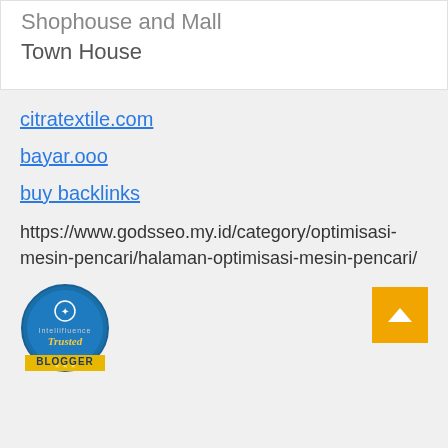Shophouse and Mall
Town House
citratextile.com
bayar.ooo
buy backlinks
https://www.godsseo.my.id/category/optimisasi-mesin-pencari/halaman-optimisasi-mesin-pencari/
[Figure (logo): Intellifluence Trusted Blogger badge — circular blue badge with gold/yellow ribbon at bottom reading BLOGGER]